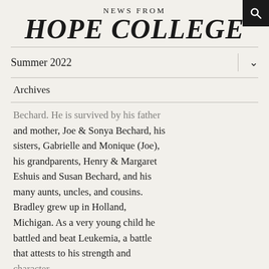NEWS FROM
HOPE COLLEGE
Summer 2022
Archives
Bechard. He is survived by his father and mother, Joe & Sonya Bechard, his sisters, Gabrielle and Monique (Joe), his grandparents, Henry & Margaret Eshuis and Susan Bechard, and his many aunts, uncles, and cousins. Bradley grew up in Holland, Michigan. As a very young child he battled and beat Leukemia, a battle that attests to his strength and character.